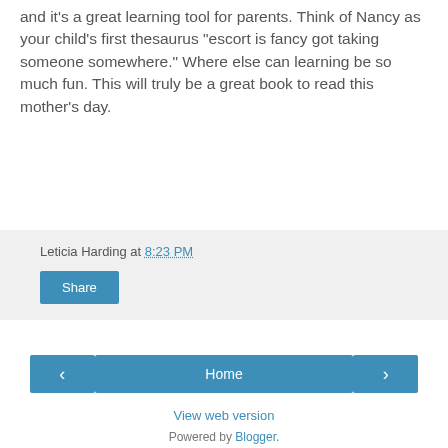and it's a great learning tool for parents. Think of Nancy as your child's first thesaurus "escort is fancy got taking someone somewhere." Where else can learning be so much fun. This will truly be a great book to read this mother's day.
Leticia Harding at 8:23 PM
Share
< Home >
View web version
Powered by Blogger.